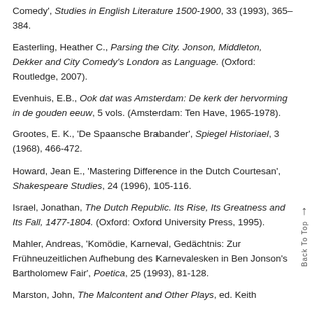Comedy', Studies in English Literature 1500-1900, 33 (1993), 365–384.
Easterling, Heather C., Parsing the City. Jonson, Middleton, Dekker and City Comedy's London as Language. (Oxford: Routledge, 2007).
Evenhuis, E.B., Ook dat was Amsterdam: De kerk der hervorming in de gouden eeuw, 5 vols. (Amsterdam: Ten Have, 1965-1978).
Grootes, E. K., 'De Spaansche Brabander', Spiegel Historiael, 3 (1968), 466-472.
Howard, Jean E., 'Mastering Difference in the Dutch Courtesan', Shakespeare Studies, 24 (1996), 105-116.
Israel, Jonathan, The Dutch Republic. Its Rise, Its Greatness and Its Fall, 1477-1804. (Oxford: Oxford University Press, 1995).
Mahler, Andreas, 'Komödie, Karneval, Gedächtnis: Zur Frühneuzeitlichen Aufhebung des Karnevalesken in Ben Jonson's Bartholomew Fair', Poetica, 25 (1993), 81-128.
Marston, John, The Malcontent and Other Plays, ed. Keith